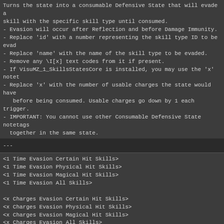Turns the state into a consumable Defensive State that will evade a skill with the specific skill type until consumed.
 - Evasion will occur after Reflection and before Damage Immunity.
- Replace 'id' with a number representing the skill type ID to be evaded.
- Replace 'name' with the name of the skill type to be evaded.
 - Remove any \I[x] text codes from it if present.
- If VisuMZ_1_SkillsStatesCore is installed, you may use the 'x' notetag
 - Replace 'x' with the number of usable charges the state would have
   before being consumed. Usable charges go down by 1 each trigger.
- IMPORTANT: You cannot use other Consumable Defensive State notetags
  together in the same state.
---
<1 Time Evasion Certain Hit Skills>
<1 Time Evasion Physical Hit Skills>
<1 Time Evasion Magical Hit Skills>
<1 Time Evasion All Skills>

<x Charges Evasion Certain Hit Skills>
<x Charges Evasion Physical Hit Skills>
<x Charges Evasion Magical Hit Skills>
<x Charges Evasion All Skills>
Used for: State Notetags
Turns the state into a Consumable Defensive State that will evade a skill with the specific hit type until consumed.
Evasion will occur after Reflection and before Damage Immunity.
If VisuMZ_1_SkillsStatesCore is installed, you may use the 'x' notetag
Replace 'x' with the number of usable charges the state would have before being consumed. Usable charges go down by 1 each trigger.